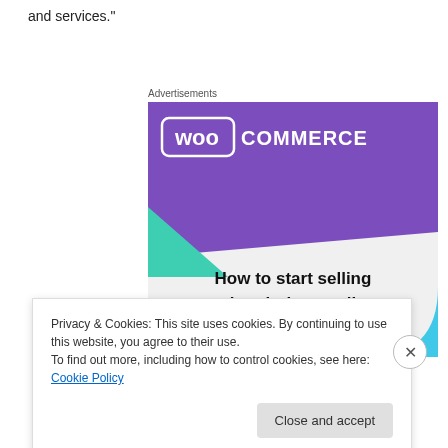and services."
Advertisements
[Figure (illustration): WooCommerce advertisement banner showing the WooCommerce logo on a purple background with green and blue geometric shapes, and the tagline 'How to start selling subscriptions online']
Privacy & Cookies: This site uses cookies. By continuing to use this website, you agree to their use.
To find out more, including how to control cookies, see here: Cookie Policy